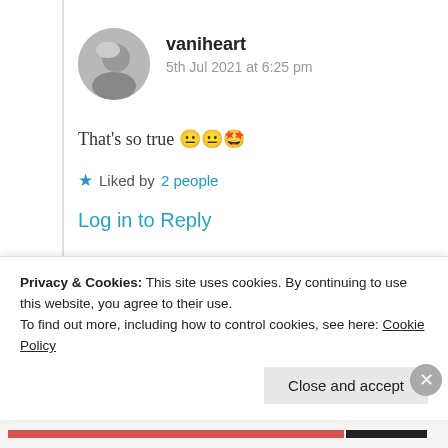vaniheart
5th Jul 2021 at 6:25 pm
That's so true 😐😐🤩
★ Liked by 2 people
Log in to Reply
[Figure (photo): Partially visible user avatar of Suma Reddy at bottom of page]
Privacy & Cookies: This site uses cookies. By continuing to use this website, you agree to their use.
To find out more, including how to control cookies, see here: Cookie Policy
Close and accept